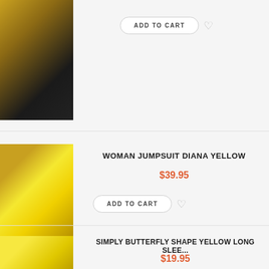[Figure (photo): Partial product image of a woman wearing a gold sequin crop top with black belt and dark pants, cropped at top of page]
ADD TO CART
[Figure (photo): Woman wearing a yellow jumpsuit (Diana Yellow) posing in front of a zebra-print background]
WOMAN JUMPSUIT DIANA YELLOW
$39.95
ADD TO CART
[Figure (photo): Partial product image of a woman in a yellow top, cropped at bottom of page]
SIMPLY BUTTERFLY SHAPE YELLOW LONG SLEE...
$19.95